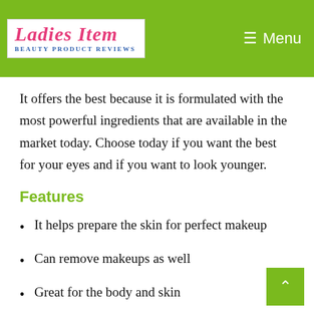Ladies Item — Beauty Product Reviews | Menu
It offers the best because it is formulated with the most powerful ingredients that are available in the market today. Choose today if you want the best for your eyes and if you want to look younger.
Features
It helps prepare the skin for perfect makeup
Can remove makeups as well
Great for the body and skin